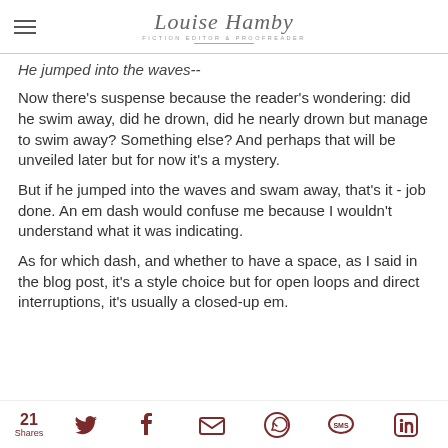Louise Hamby — Fiction Editor & Proofreader
He jumped into the waves--
Now there's suspense because the reader's wondering: did he swim away, did he drown, did he nearly drown but manage to swim away? Something else? And perhaps that will be unveiled later but for now it's a mystery.
But if he jumped into the waves and swam away, that's it - job done. An em dash would confuse me because I wouldn't understand what it was indicating.
As for which dash, and whether to have a space, as I said in the blog post, it's a style choice but for open loops and direct interruptions, it's usually a closed-up em.
21 Shares — social share icons: Twitter, Facebook, Email, WhatsApp, SMS, LinkedIn